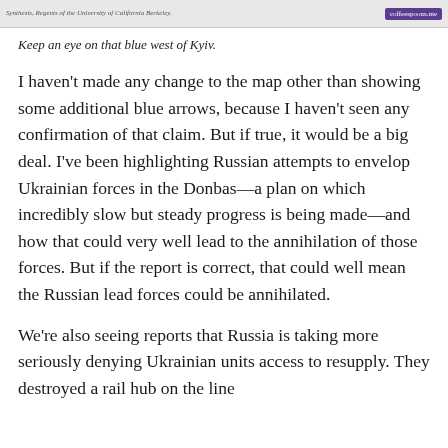[Figure (other): Top strip showing partial map image with attribution text on left and coffeespoons.me badge on right]
Keep an eye on that blue west of Kyiv.
I haven't made any change to the map other than showing some additional blue arrows, because I haven't seen any confirmation of that claim. But if true, it would be a big deal. I've been highlighting Russian attempts to envelop Ukrainian forces in the Donbas—a plan on which incredibly slow but steady progress is being made—and how that could very well lead to the annihilation of those forces. But if the report is correct, that could well mean the Russian lead forces could be annihilated.
We're also seeing reports that Russia is taking more seriously denying Ukrainian units access to resupply. They destroyed a rail hub on the line